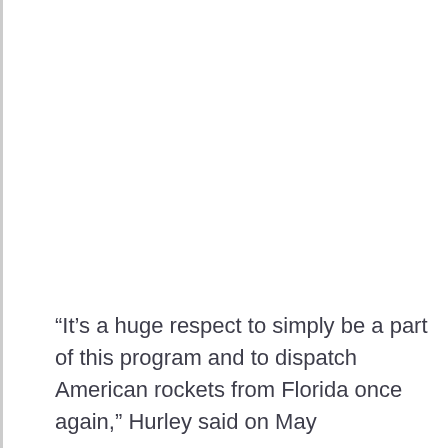“It’s a huge respect to simply be a part of this program and to dispatch American rockets from Florida once again,” Hurley said on May